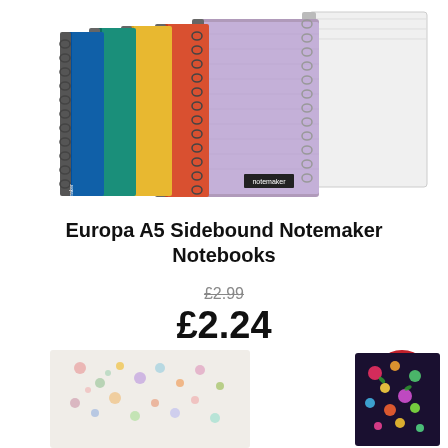[Figure (photo): Stack of Europa A5 Sidebound Notemaker Notebooks in blue, teal, yellow, orange, purple and white colors with spiral binding on left side]
Europa A5 Sidebound Notemaker Notebooks
£2.99 (strikethrough old price)
£2.24
[Figure (illustration): Red circular gift/add to basket button with gift box icon]
[Figure (photo): Two floral patterned notebooks partially visible at bottom of page - one light background with small flowers, one dark background with colorful flowers]